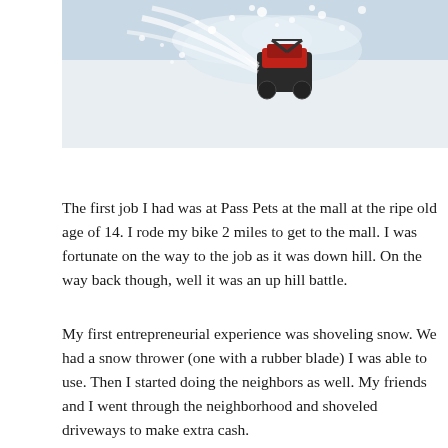[Figure (photo): A snow blower or snow thrower machine in action, spraying snow, photographed from above. A red machine visible against a white snow background.]
The first job I had was at Pass Pets at the mall at the ripe old age of 14. I rode my bike 2 miles to get to the mall. I was fortunate on the way to the job as it was down hill. On the way back though, well it was an up hill battle.
My first entrepreneurial experience was shoveling snow. We had a snow thrower (one with a rubber blade) I was able to use. Then I started doing the neighbors as well. My friends and I went through the neighborhood and shoveled driveways to make extra cash.